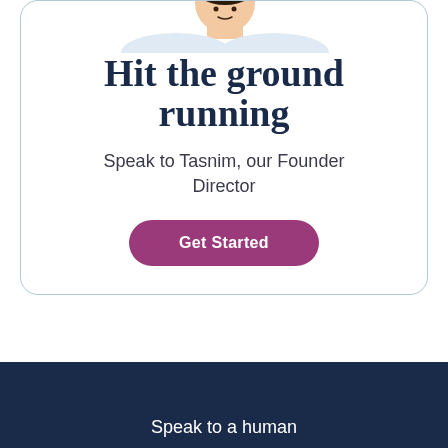[Figure (illustration): Partial illustration of a person at the top of a rounded card, cropped at the top edge]
Hit the ground running
Speak to Tasnim, our Founder Director
Get Started
Speak to a human